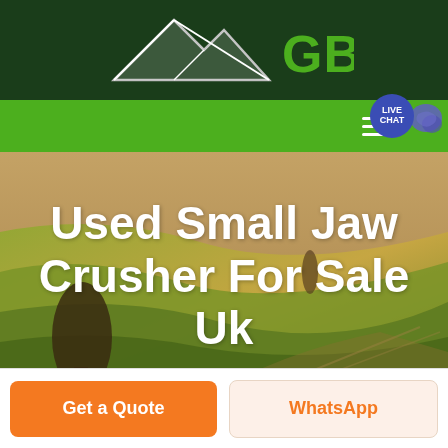[Figure (logo): GBM company logo with mountain/arrow graphic in white/grey on dark green background, with green GBM text]
[Figure (screenshot): Green navigation bar with hamburger menu icon and Live Chat bubble (blue circle with chat icon)]
[Figure (photo): Aerial/landscape photograph of green and golden rolling fields with a dark hedgerow figure]
Used Small Jaw Crusher For Sale Uk
Get a Quote
WhatsApp